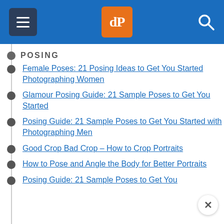dPS (Digital Photography School) navigation header
POSING
Female Poses: 21 Posing Ideas to Get You Started Photographing Women
Glamour Posing Guide: 21 Sample Poses to Get You Started
Posing Guide: 21 Sample Poses to Get You Started with Photographing Men
Good Crop Bad Crop – How to Crop Portraits
How to Pose and Angle the Body for Better Portraits
Posing Guide: 21 Sample Poses to Get You